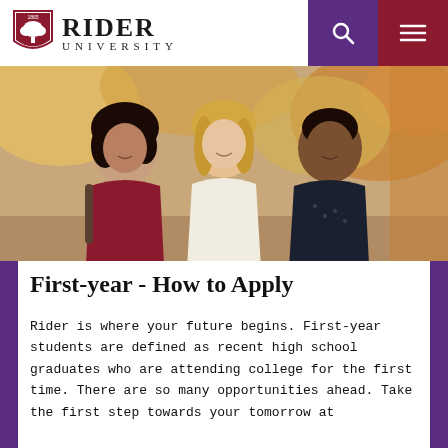Rider University
[Figure (photo): Three smiling college students standing together outdoors with autumn foliage in background. A young woman in a red Rider University shirt on the left, a young woman with long blonde hair in the center, and a young man in a dark patterned shirt on the right.]
First-year - How to Apply
Rider is where your future begins. First-year students are defined as recent high school graduates who are attending college for the first time. There are so many opportunities ahead. Take the first step towards your tomorrow at